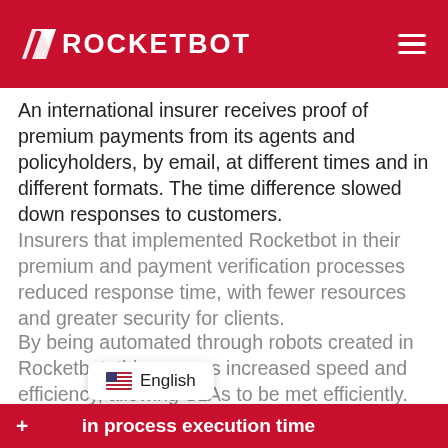ROCKETBOT
An international insurer receives proof of premium payments from its agents and policyholders, by email, at different times and in different formats. The time difference slowed down responses to customers.
Insurers that implemented Rocketbot in their premium and payment verification processes reduced response time, with fewer resources and greater security for clients.
By being automated through robots created in Rocketbot, this process increased speed and efficiency, allowing SLAs to be met efficiently.
English
+ in process execution time